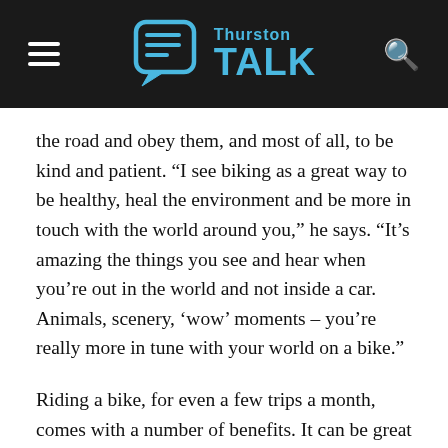Thurston Talk
the road and obey them, and most of all, to be kind and patient. “I see biking as a great way to be healthy, heal the environment and be more in touch with the world around you,” he says. “It’s amazing the things you see and hear when you’re out in the world and not inside a car. Animals, scenery, ‘wow’ moments – you’re really more in tune with your world on a bike.”
Riding a bike, for even a few trips a month, comes with a number of benefits. It can be great for health and wellness. The American Heart Association recommends at least 30 minutes of moderate intensity activity 5 days a week.  It is good for the environment, reducing vehicle emissions and chemical runoff into storm water systems. In fact, every mile you ride on a bike instead of a motorized vehicle reduces